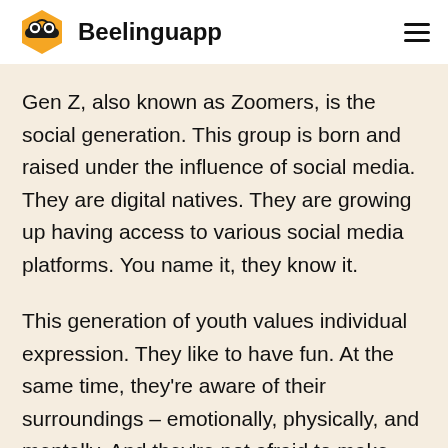Beelinguapp
Gen Z, also known as Zoomers, is the social generation. This group is born and raised under the influence of social media. They are digital natives. They are growing up having access to various social media platforms. You name it, they know it.
This generation of youth values individual expression. They like to have fun. At the same time, they're aware of their surroundings – emotionally, physically, and mentally. And they're not afraid to make this world a bit more colorful, particularly with their creation of fun expressions